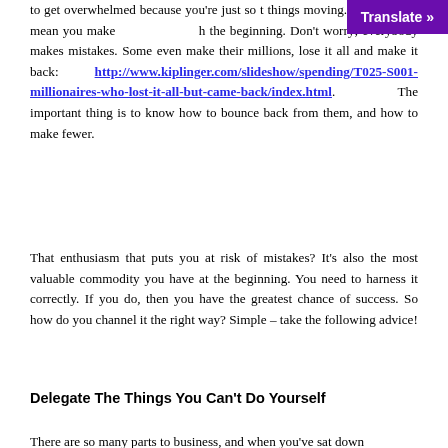to get overwhelmed because you're just so t things moving. And this can mean you make h the beginning. Don't worry; everybody makes mistakes. Some even make their millions, lose it all and make it back: http://www.kiplinger.com/slideshow/spending/T025-S001-millionaires-who-lost-it-all-but-came-back/index.html. The important thing is to know how to bounce back from them, and how to make fewer.
That enthusiasm that puts you at risk of mistakes? It's also the most valuable commodity you have at the beginning. You need to harness it correctly. If you do, then you have the greatest chance of success. So how do you channel it the right way? Simple – take the following advice!
Delegate The Things You Can't Do Yourself
There are so many parts to business, and when you've sat down